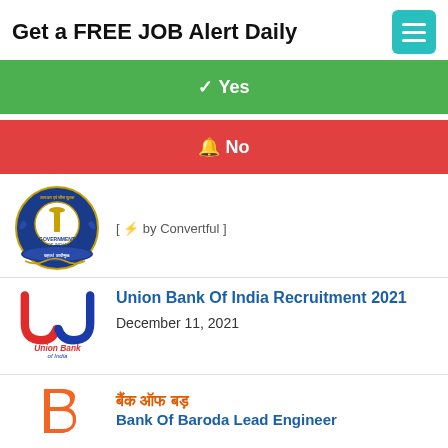Get a FREE JOB Alert Daily
✓ Yes
🔔 No
[Figure (logo): CBDT (Central Board of Direct Taxes and Customs) Government of India circular emblem with lion capital and text in Hindi]
[ ⚡ by Convertful ]
[Figure (logo): Union Bank of India logo with red and blue interlocking U shape and text 'Union Bank of India']
Union Bank Of India Recruitment 2021
December 11, 2021
[Figure (logo): Bank of Baroda logo - orange B letter mark]
बैंक ऑफ बड़
Bank Of Baroda Lead Engineer